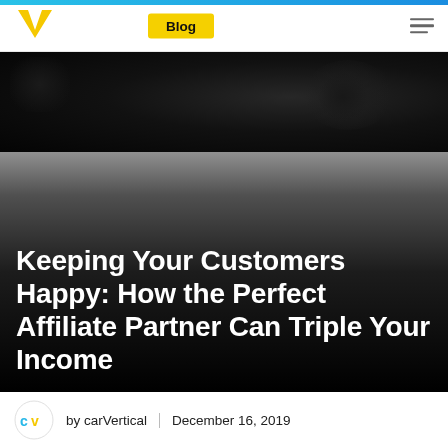Blog
[Figure (photo): Dark hero image of a car, mostly black background with subtle circular shapes visible]
Keeping Your Customers Happy: How the Perfect Affiliate Partner Can Triple Your Income
by carVertical | December 16, 2019